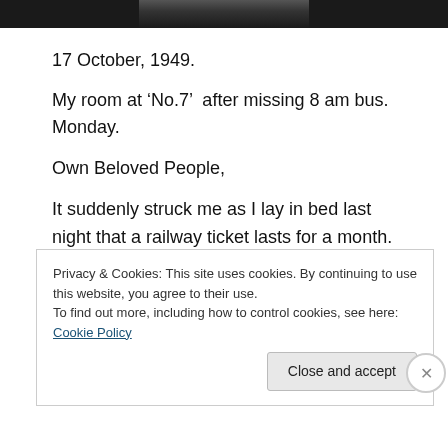[Figure (photo): Partial black-and-white photograph visible at the top of the page, cropped to show only the bottom strip.]
17 October, 1949.
My room at ‘No.7’  after missing 8 am bus. Monday.
Own Beloved People,
It suddenly struck me as I lay in bed last night that a railway ticket lasts for a month. Accordingly, if I get my warrant all right and get it changed for a ticket I think I should use that ticket for actually coming up to you
Privacy & Cookies: This site uses cookies. By continuing to use this website, you agree to their use.
To find out more, including how to control cookies, see here: Cookie Policy